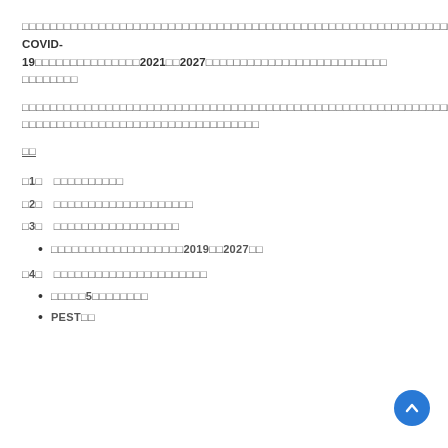□□□□□□□□□□□□□□□□□□□□□□□□□□□□□□□□□□□□□□□□□□□□□□□□□□□□□□□□□□□□□□□□□□□□□□□□□□□□□□ COVID-19□□□□□□□□□□□□□□□2021□□2027□□□□□□□□□□□□□□□□□□□□□□□□□□
□□□□□□□□□□□□□□□□□□□□□□□□□□□□□□□□□□□□□□□□□□□□□□□□□□□□□□□□□□□□□□□□□□□□□□□□□□□□□□□□□□□□□□□□□□□□□□□□□□□□□□□□□□□□□□□□□□□□□□□□□□□□□□□□□□□□□□□□□□□□□□□□□□□□□□□□□□□□□□□□□□□□□□□□□□□□□□□□□□□□□□
□□
□1□ □□□□□□□□□□
□2□ □□□□□□□□□□□□□□□□□□□□
□3□ □□□□□□□□□□□□□□□□□□
□□□□□□□□□□□□□□□□□□□2019□□2027□□
□4□ □□□□□□□□□□□□□□□□□□□□□□
□□□□□5□□□□□□□□
PEST□□